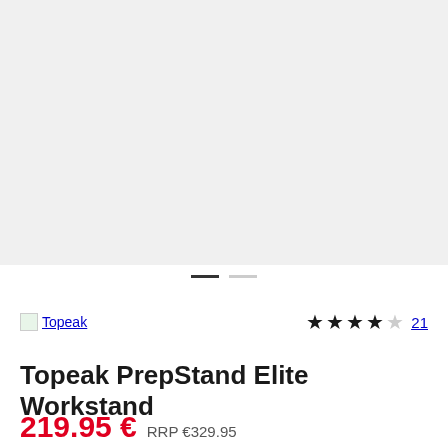[Figure (photo): Product image area with light grey background, currently empty/loading]
[Figure (other): Carousel navigation dots: one dark active dot and one grey inactive dot]
Topeak
★★★★☆ 21
Topeak PrepStand Elite Workstand
219.95 €  RRP €329.95